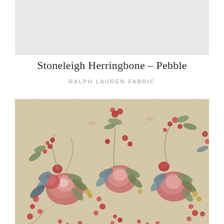[Figure (photo): Light grey rectangular placeholder/swatch area at the top of the page]
Stoneleigh Herringbone – Pebble
RALPH LAUREN FABRIC
[Figure (photo): Close-up photograph of a floral fabric print on a beige/pebble herringbone ground. The pattern features clusters of red, pink, and dusty rose peonies and roses with blue, green, and olive foliage arranged in a trailing botanical design. Ralph Lauren Stoneleigh Herringbone in Pebble colorway.]